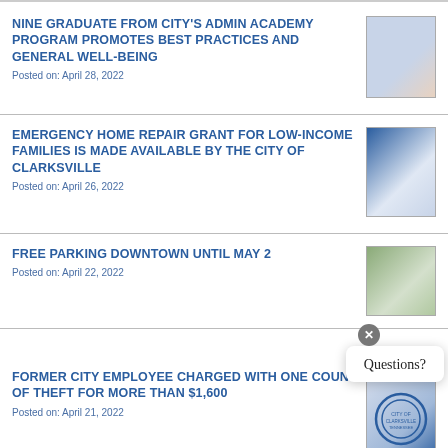NINE GRADUATE FROM CITY'S ADMIN ACADEMY PROGRAM PROMOTES BEST PRACTICES AND GENERAL WELL-BEING
Posted on: April 28, 2022
[Figure (photo): Group photo of graduates from the City Admin Academy program]
EMERGENCY HOME REPAIR GRANT FOR LOW-INCOME FAMILIES IS MADE AVAILABLE BY THE CITY OF CLARKSVILLE
Posted on: April 26, 2022
[Figure (photo): Person standing in front of city backdrop]
FREE PARKING DOWNTOWN UNTIL MAY 2
Posted on: April 22, 2022
[Figure (photo): Parking meter photo]
FORMER CITY EMPLOYEE CHARGED WITH ONE COUNT OF THEFT FOR MORE THAN $1,600
Posted on: April 21, 2022
[Figure (logo): City of Clarksville official seal]
CLARKSVILLE RANKS NO. 11 OUT OF 150 IN...